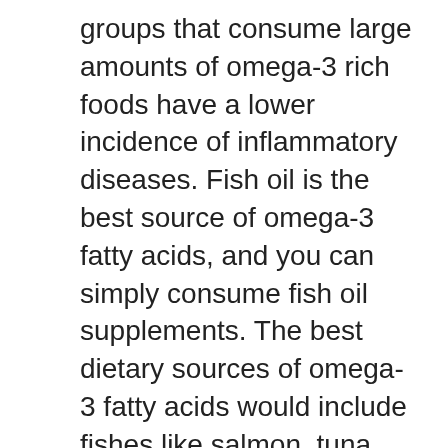groups that consume large amounts of omega-3 rich foods have a lower incidence of inflammatory diseases. Fish oil is the best source of omega-3 fatty acids, and you can simply consume fish oil supplements. The best dietary sources of omega-3 fatty acids would include fishes like salmon, tuna and mackerel.
Oils such as fish oil, walnut oil, and olive oil should be a regular part of your diet. These oils along with fatty fish are high in